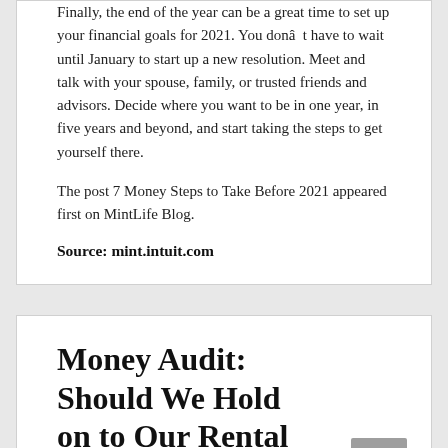Finally, the end of the year can be a great time to set up your financial goals for 2021. You don't have to wait until January to start up a new resolution. Meet and talk with your spouse, family, or trusted friends and advisors. Decide where you want to be in one year, in five years and beyond, and start taking the steps to get yourself there.
The post 7 Money Steps to Take Before 2021 appeared first on MintLife Blog.
Source: mint.intuit.com
Money Audit: Should We Hold on to Our Rental Properties?